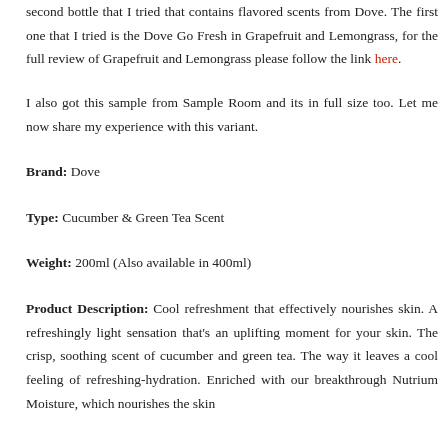second bottle that I tried that contains flavored scents from Dove. The first one that I tried is the Dove Go Fresh in Grapefruit and Lemongrass, for the full review of Grapefruit and Lemongrass please follow the link here.
I also got this sample from Sample Room and its in full size too. Let me now share my experience with this variant.
Brand: Dove
Type: Cucumber & Green Tea Scent
Weight: 200ml (Also available in 400ml)
Product Description: Cool refreshment that effectively nourishes skin. A refreshingly light sensation that's an uplifting moment for your skin. The crisp, soothing scent of cucumber and green tea. The way it leaves a cool feeling of refreshing-hydration. Enriched with our breakthrough Nutrium Moisture, which nourishes the skin